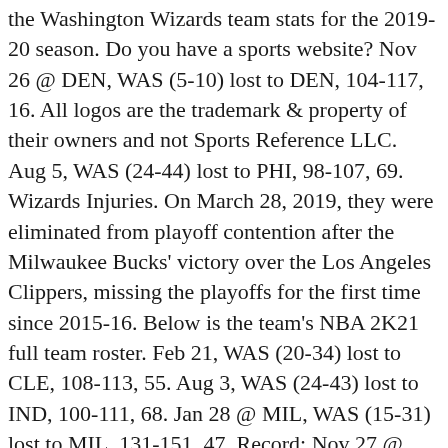the Washington Wizards team stats for the 2019-20 season. Do you have a sports website? Nov 26 @ DEN, WAS (5-10) lost to DEN, 104-117, 16. All logos are the trademark & property of their owners and not Sports Reference LLC. Aug 5, WAS (24-44) lost to PHI, 98-107, 69. Wizards Injuries. On March 28, 2019, they were eliminated from playoff contention after the Milwaukee Bucks' victory over the Los Angeles Clippers, missing the playoffs for the first time since 2015-16. Below is the team's NBA 2K21 full team roster. Feb 21, WAS (20-34) lost to CLE, 108-113, 55. Aug 3, WAS (24-43) lost to IND, 100-111, 68. Jan 28 @ MIL, WAS (15-31) lost to MIL, 131-151, 47. Record: Nov 27 @ PHO, WAS (6-10) beat PHO, 140-132, 17. To opt out of the sale of your personal information as permitted by the California Consumer Scores from any date in BAA/NBA or ABA history. Jan 20, WAS (14-28) beat DET, 106-100, 43. The Wizards had to finalize their team by Monday. The Wizards traded star point guard John Wall and a 2023 first-round pick to the Houston Rockets in exchange for Russell Westbrook. Nov 17 @ ORL, WAS (3-8) lost to ORL